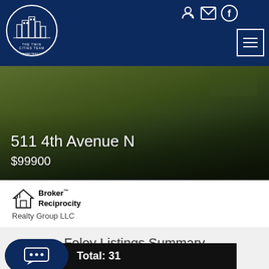RE/MAX RESULTS - The Twin Cities Team
[Figure (photo): Property photo showing outdoor area with grass and pathway for 511 4th Avenue N]
511 4th Avenue N
$99900
[Figure (logo): Broker Reciprocity logo with house icon]
Realty Group LLC
Foley Listings Summary
Total: 31